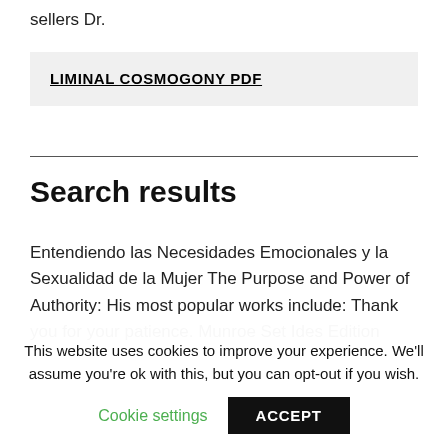sellers Dr.
LIMINAL COSMOGONY PDF
Search results
Entendiendo las Necesidades Emocionales y la Sexualidad de la Mujer The Purpose and Power of Authority: His most popular works include: Thank you for your patience. Munroe Set Ides Edition
This website uses cookies to improve your experience. We'll assume you're ok with this, but you can opt-out if you wish.
Cookie settings
ACCEPT